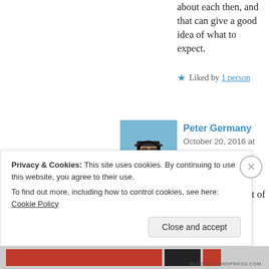about each then, and that can give a good idea of what to expect.
Liked by 1 person
[Figure (photo): Profile photo of Peter Germany — person wearing headphones and sunglasses outdoors in a field under blue sky]
Peter Germany
October 20, 2016 at 21:08
I've heard of most of the...
Privacy & Cookies: This site uses cookies. By continuing to use this website, you agree to their use.
To find out more, including how to control cookies, see here: Cookie Policy
Close and accept